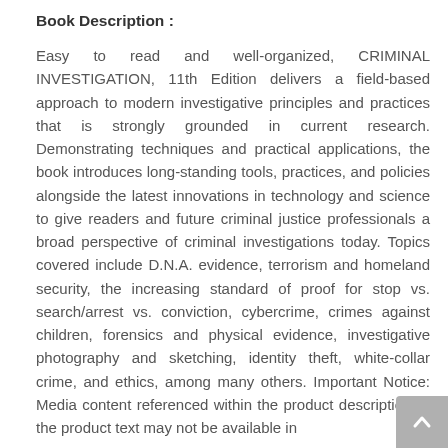Book Description :
Easy to read and well-organized, CRIMINAL INVESTIGATION, 11th Edition delivers a field-based approach to modern investigative principles and practices that is strongly grounded in current research. Demonstrating techniques and practical applications, the book introduces long-standing tools, practices, and policies alongside the latest innovations in technology and science to give readers and future criminal justice professionals a broad perspective of criminal investigations today. Topics covered include D.N.A. evidence, terrorism and homeland security, the increasing standard of proof for stop vs. search/arrest vs. conviction, cybercrime, crimes against children, forensics and physical evidence, investigative photography and sketching, identity theft, white-collar crime, and ethics, among many others. Important Notice: Media content referenced within the product description or the product text may not be available in